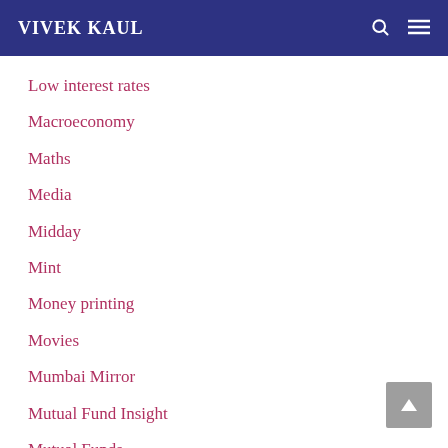VIVEK KAUL
Low interest rates
Macroeconomy
Maths
Media
Midday
Mint
Money printing
Movies
Mumbai Mirror
Mutual Fund Insight
Mutual Funds
MxMIndia